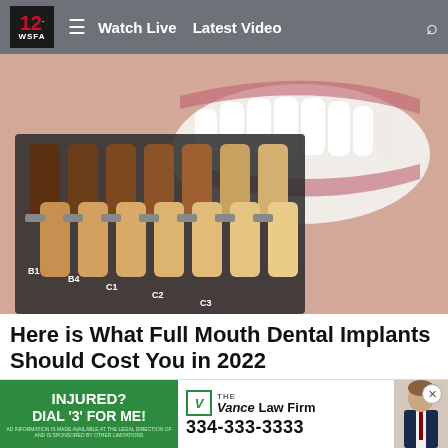12 WSFA | Watch Live | Latest Video
[Figure (photo): Close-up of a smiling person's teeth with a dental shade guide showing multiple tooth color samples from dark brown to light cream arranged in a fan pattern, with shade labels B1, B4, C1, C2, C3 visible]
Here is What Full Mouth Dental Implants Should Cost You in 2022
Dental Implants | Search Ads | Sponsored
[Figure (other): Advertisement banner for The Vance Law Firm. Left side green background reads: INJURED? DIAL '3' FOR ME! Right side shows The Vance Law Firm logo and phone number 334-333-3333, with a photo of a lawyer in a suit.]